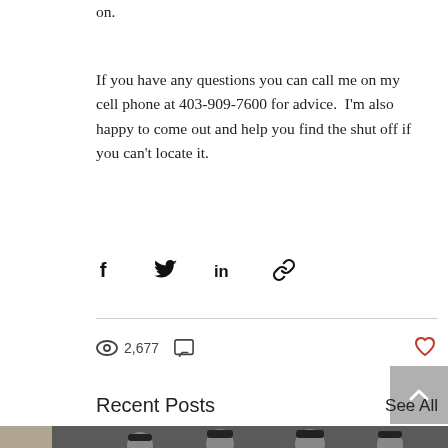on.
If you have any questions you can call me on my cell phone at 403-909-7600 for advice.  I'm also happy to come out and help you find the shut off if you can't locate it.
[Figure (infographic): Social share icons row: Facebook (f), Twitter (bird), LinkedIn (in), link/chain icon]
[Figure (infographic): Stats row: eye icon with 2,677 views, comment icon; heart/like icon on right]
Recent Posts
See All
[Figure (photo): Photo of four men in dark caps standing in front of a building, with a chat bubble icon overlay]